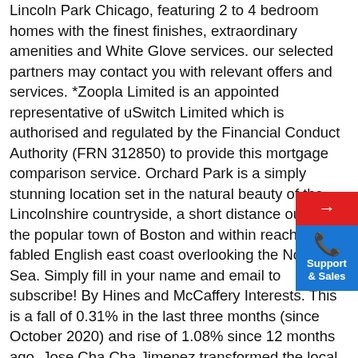Lincoln Park Chicago, featuring 2 to 4 bedroom homes with the finest finishes, extraordinary amenities and White Glove services. our selected partners may contact you with relevant offers and services. *Zoopla Limited is an appointed representative of uSwitch Limited which is authorised and regulated by the Financial Conduct Authority (FRN 312850) to provide this mortgage comparison service. Orchard Park is a simply stunning location set in the natural beauty of the Lincolnshire countryside, a short distance outside of the popular town of Boston and within reach of the fabled English east coast overlooking the North Sea. Simply fill in your name and email to subscribe! By Hines and McCaffery Interests. This is a fall of 0.31% in the last three months (since October 2020) and rise of 1.08% since 12 months ago. Jose Cha Cha Jimenez transformed the local Young Lords gang into human rights activists for Latinos and the poor. Best prices, easy booking, no fees with immediate confirmation. Perfectly situated between Greer and downtown Greenville with easy access to Spartanburg, Lincoln Park located in Taylors, SC is a beacon of convenience. 58 Orchard Dr , Lincoln Park, NJ 07035 is currently not for sale. For those considering
[Figure (other): Support & Sales button with red arrow box on top and blue phone/support box below]